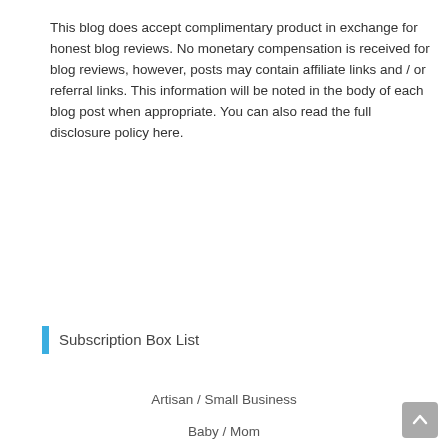This blog does accept complimentary product in exchange for honest blog reviews. No monetary compensation is received for blog reviews, however, posts may contain affiliate links and / or referral links. This information will be noted in the body of each blog post when appropriate. You can also read the full disclosure policy here.
Subscription Box List
Artisan / Small Business
Baby / Mom
Beauty / Cosmetic / Makeup
Book / Reading
Candle
Coffee / Tea / Cocoa / Cocktail